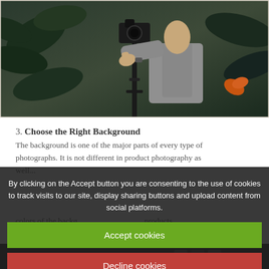[Figure (photo): Person in grey hoodie holding a camera on a stabilizer/gimbal, surrounded by tropical plants/leaves in a dark outdoor setting.]
3. Choose the Right Background
The background is one of the major parts of every type of photographs. It is not different in product photography as well...
By clicking on the Accept button you are consenting to the use of cookies to track visits to our site, display sharing buttons and upload content from social platforms.
Accept cookies
Decline cookies
[Figure (screenshot): Bottom dark strip with 'CHOOSE' text and some icons partially visible.]